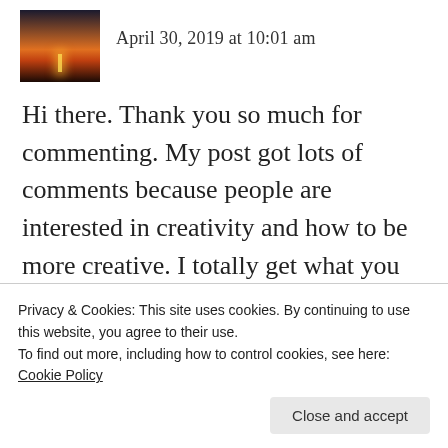[Figure (photo): Small square avatar image showing a sunset silhouette with a bright sun near the horizon, dark foreground, orange and dark sky tones.]
April 30, 2019 at 10:01 am
Hi there. Thank you so much for commenting. My post got lots of comments because people are interested in creativity and how to be more creative. I totally get what you mean about the ‘noise’ though – I find for me walking and travel generate
Privacy & Cookies: This site uses cookies. By continuing to use this website, you agree to their use.
To find out more, including how to control cookies, see here: Cookie Policy
Close and accept